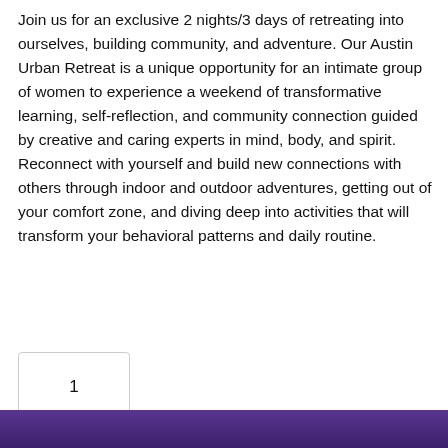Join us for an exclusive 2 nights/3 days of retreating into ourselves, building community, and adventure. Our Austin Urban Retreat is a unique opportunity for an intimate group of women to experience a weekend of transformative learning, self-reflection, and community connection guided by creative and caring experts in mind, body, and spirit. Reconnect with yourself and build new connections with others through indoor and outdoor adventures, getting out of your comfort zone, and diving deep into activities that will transform your behavioral patterns and daily routine.
1
[Figure (photo): Bottom strip showing a dark purple/violet background, partial view of what appears to be a person or decorative image element.]